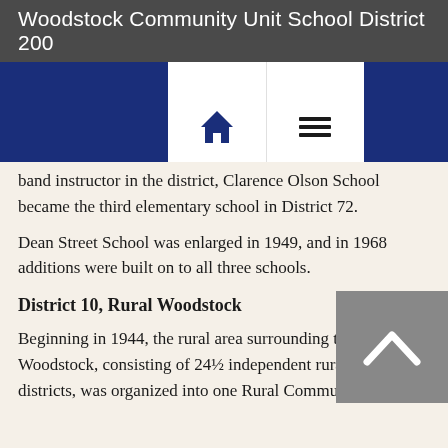Woodstock Community Unit School District 200
[Figure (screenshot): Navigation bar with home icon and hamburger menu icon on white panel over blue bar]
band instructor in the district, Clarence Olson School became the third elementary school in District 72.
Dean Street School was enlarged in 1949, and in 1968 additions were built on to all three schools.
District 10, Rural Woodstock
Beginning in 1944, the rural area surrounding the city of Woodstock, consisting of 24½ independent rural school districts, was organized into one Rural Community